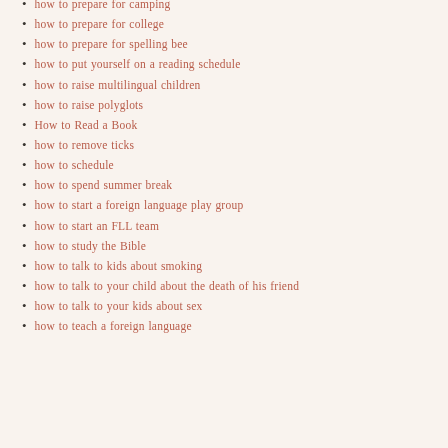how to prepare for camping
how to prepare for college
how to prepare for spelling bee
how to put yourself on a reading schedule
how to raise multilingual children
how to raise polyglots
How to Read a Book
how to remove ticks
how to schedule
how to spend summer break
how to start a foreign language play group
how to start an FLL team
how to study the Bible
how to talk to kids about smoking
how to talk to your child about the death of his friend
how to talk to your kids about sex
how to teach a foreign language